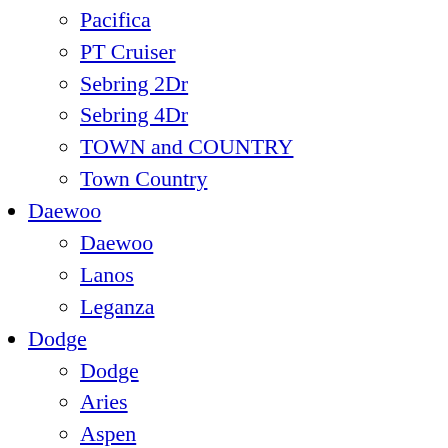LHS
New Yorker
Pacifica
PT Cruiser
Sebring 2Dr
Sebring 4Dr
TOWN and COUNTRY
Town Country
Daewoo
Daewoo
Lanos
Leganza
Dodge
Dodge
Aries
Aspen
Avenger
B1500
B2500
B3500
Caliber
Caravan
Challenger
Charger
Colt 4Dr